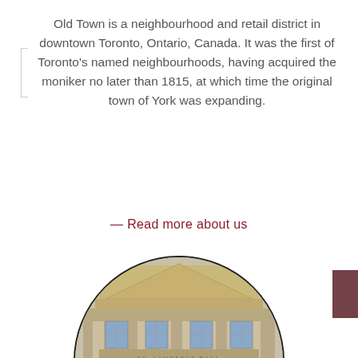Old Town is a neighbourhood and retail district in downtown Toronto, Ontario, Canada. It was the first of Toronto's named neighbourhoods, having acquired the moniker no later than 1815, at which time the original town of York was expanding.
— Read more about us
[Figure (photo): Circular-cropped photo of a neoclassical stone building facade with columns, pediment with sculptural relief, and large windows — likely a historic civic or government building in Old Town Toronto.]